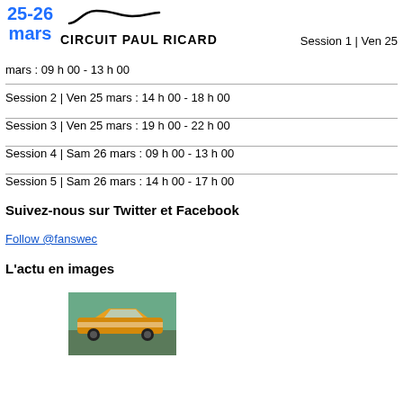25-26 mars CIRCUIT PAUL RICARD
Session 1 | Ven 25 mars : 09 h 00 - 13 h 00
Session 2 | Ven 25 mars : 14 h 00 - 18 h 00
Session 3 | Ven 25 mars : 19 h 00 - 22 h 00
Session 4 | Sam 26 mars : 09 h 00 - 13 h 00
Session 5 | Sam 26 mars : 14 h 00 - 17 h 00
Suivez-nous sur Twitter et Facebook
Follow @fanswec
L'actu en images
[Figure (photo): Racing car photo, orange and white livery]